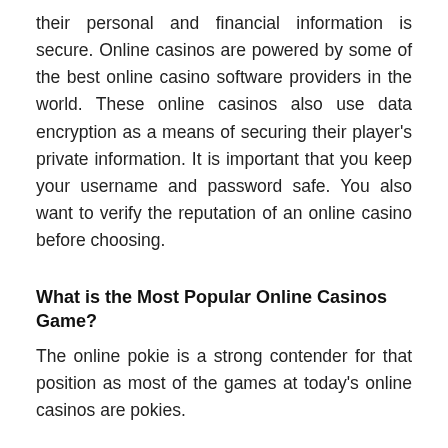their personal and financial information is secure. Online casinos are powered by some of the best online casino software providers in the world. These online casinos also use data encryption as a means of securing their player's private information. It is important that you keep your username and password safe. You also want to verify the reputation of an online casino before choosing.
What is the Most Popular Online Casinos Game?
The online pokie is a strong contender for that position as most of the games at today's online casinos are pokies.
What Are Online Pokies & Slots?
Because, online pokies are the electronic versions of traditional slot machines on which you can play poker...